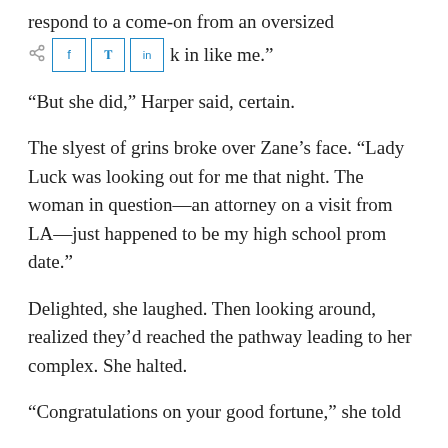respond to a come-on from an oversized mou... ...k in like me."
“But she did,” Harper said, certain.
The slyest of grins broke over Zane’s face. “Lady Luck was looking out for me that night. The woman in question—an attorney on a visit from LA—just happened to be my high school prom date.”
Delighted, she laughed. Then looking around, realized they’d reached the pathway leading to her complex. She halted.
“Congratulations on your good fortune,” she told